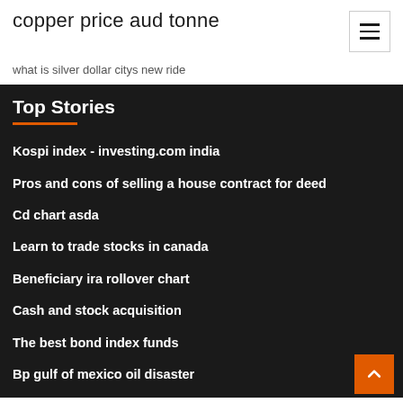copper price aud tonne
what is silver dollar citys new ride
Top Stories
Kospi index - investing.com india
Pros and cons of selling a house contract for deed
Cd chart asda
Learn to trade stocks in canada
Beneficiary ira rollover chart
Cash and stock acquisition
The best bond index funds
Bp gulf of mexico oil disaster
Convert usd to europe